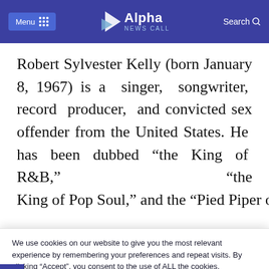Alpha News Call — Menu | Search
Robert Sylvester Kelly (born January 8, 1967) is a singer, songwriter, record producer, and convicted sex offender from the United States. He has been dubbed “the King of R&B,” “the King of Pop Soul,” and the “Pied Piper of R&B”
We use cookies on our website to give you the most relevant experience by remembering your preferences and repeat visits. By clicking “Accept”, you consent to the use of ALL the cookies.
Do not sell my personal information.